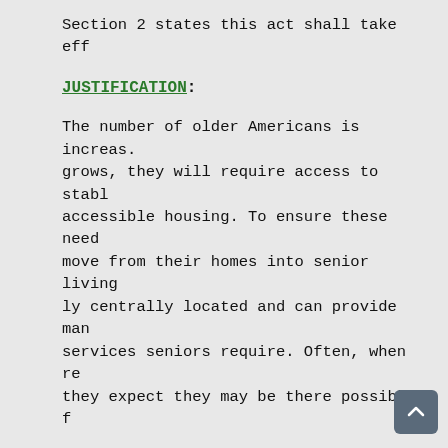Section 2 states this act shall take eff
JUSTIFICATION:
The number of older Americans is increas. grows, they will require access to stabl accessible housing. To ensure these need move from their homes into senior living ly centrally located and can provide man services seniors require. Often, when re they expect they may be there possibly f
Recently in White Plains, the Esplanade to re-purpose that location into higher- their senior tenants notice of their pen the fact the facility allowed new tenant late as one month before the evictions w approximately 150 senior citizens